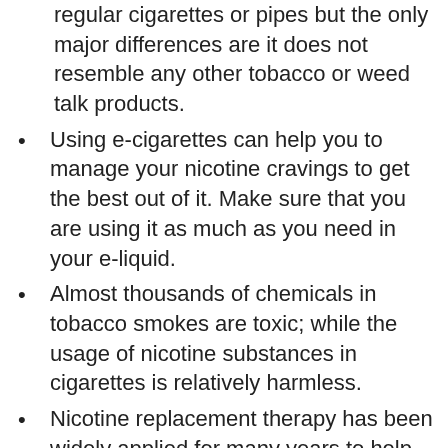regular cigarettes or pipes but the only major differences are it does not resemble any other tobacco or weed talk products.
Using e-cigarettes can help you to manage your nicotine cravings to get the best out of it. Make sure that you are using it as much as you need in your e-liquid.
Almost thousands of chemicals in tobacco smokes are toxic; while the usage of nicotine substances in cigarettes is relatively harmless.
Nicotine replacement therapy has been widely applied for many years to help people stop smoking and it is a safe treatment too.
Bottom line: The electronic cigarette is infinitely less dangerous to the environment than smoked